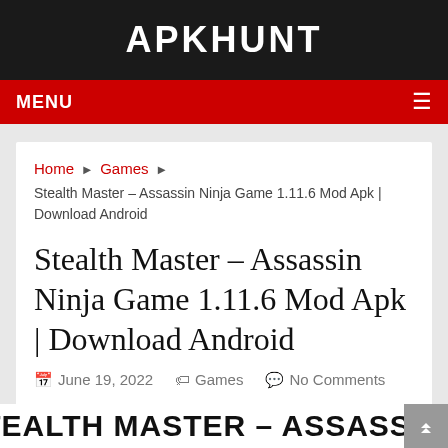APKHUNT
MENU ☰
Home ▶ Games ▶ Stealth Master – Assassin Ninja Game 1.11.6 Mod Apk | Download Android
Stealth Master – Assassin Ninja Game 1.11.6 Mod Apk | Download Android
June 19, 2022   Games   No Comments
STEALTH MASTER – ASSASSIN